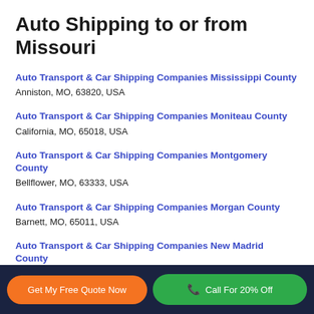Auto Shipping to or from Missouri
Auto Transport & Car Shipping Companies Mississippi County
Anniston, MO, 63820, USA
Auto Transport & Car Shipping Companies Moniteau County
California, MO, 65018, USA
Auto Transport & Car Shipping Companies Montgomery County
Bellflower, MO, 63333, USA
Auto Transport & Car Shipping Companies Morgan County
Barnett, MO, 65011, USA
Auto Transport & Car Shipping Companies New Madrid County
Get My Free Quote Now | Call For 20% Off